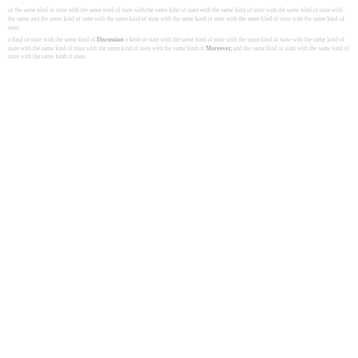faint body text passage — lightly visible scientific or academic paragraph text spread across approximately three lines at the top of the page, with some bold or emphasized words interspersed, followed by additional paragraph text continuing below. The content is largely illegible due to very low contrast (light gray on white).